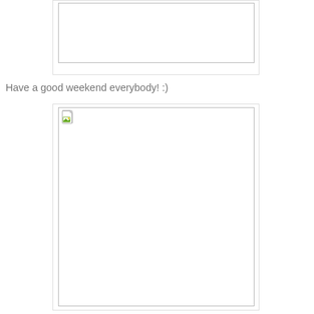[Figure (other): Partially visible image placeholder box at top of page, cut off]
Have a good weekend everybody! :)
[Figure (other): Image placeholder box with broken image icon in top-left corner, mostly empty white content]